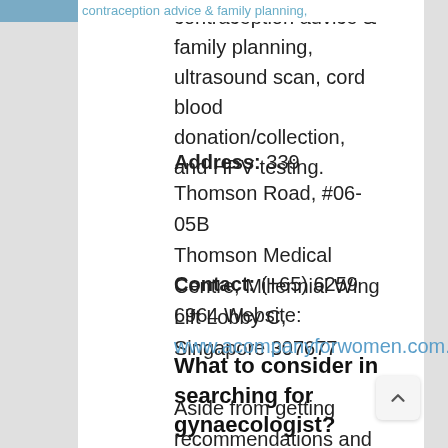contraception advice & family planning, ultrasound scan, cord blood donation/collection, and HPV testing.
Address: 339 Thomson Road, #06-05B Thomson Medical Centre, Millennial Wing Lift Lobby C, Singapore 307677
Contact: (+65) 6259 6964 Website: www.acompanyforwomen.com.sg
What to consider in searching for gynaecologist?
Aside from getting recommendations and reading great reviews, You need to make sure that they accept your insurance and they are affiliated with the hospitals near...